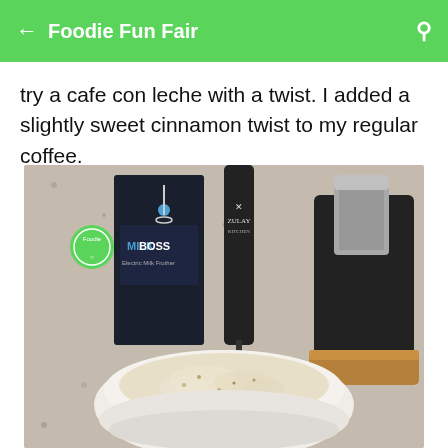Foodie Fun Fair
try a cafe con leche with a twist. I added a slightly sweet cinnamon twist to my regular coffee.
[Figure (photo): A white bowl containing a frothy coffee drink (cafe con leche) on a granite countertop. In the background is a Zulay Kitchen milk frother with its box, and a coffee maker with a wooden base. A green 'Foodie' circular logo sticker is visible on the box.]